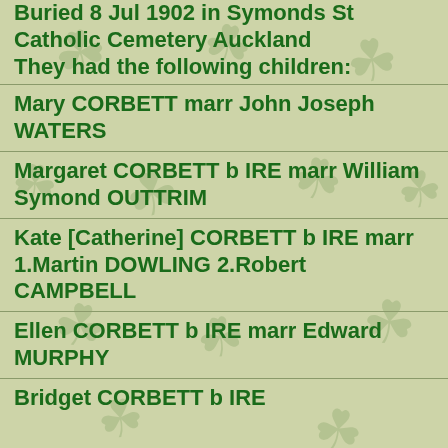Buried 8 Jul 1902 in Symonds St Catholic Cemetery Auckland
They had the following children:
Mary CORBETT marr John Joseph WATERS
Margaret CORBETT b IRE marr William Symond OUTTRIM
Kate [Catherine] CORBETT b IRE marr 1.Martin DOWLING 2.Robert CAMPBELL
Ellen CORBETT b IRE marr Edward MURPHY
Bridget CORBETT b IRE